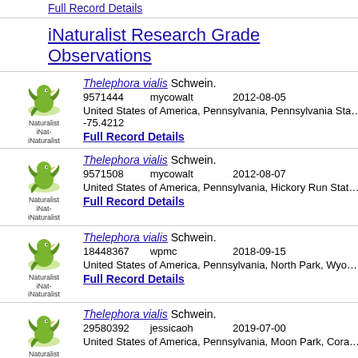Full Record Details
iNaturalist Research Grade Observations
Thelephora vialis Schwein. | 9571444 | mycowalt | 2012-08-05 | United States of America, Pennsylvania, Pennsylvania State Ga... -75.4212 | Full Record Details
Thelephora vialis Schwein. | 9571508 | mycowalt | 2012-08-07 | United States of America, Pennsylvania, Hickory Run State Pa... | Full Record Details
Thelephora vialis Schwein. | 18448367 | wpmc | 2018-09-15 | United States of America, Pennsylvania, North Park, Wyoming... | Full Record Details
Thelephora vialis Schwein. | 29580392 | jessicaoh | 2019-07-00 | United States of America, Pennsylvania, Moon Park, Coraopoli...